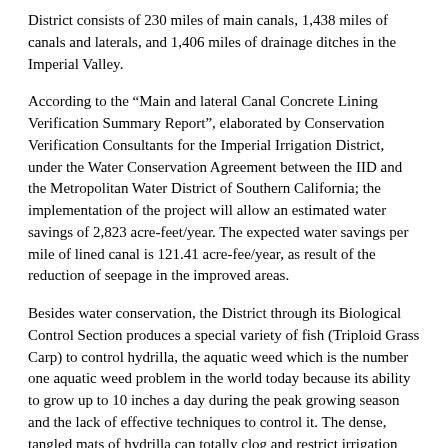District consists of 230 miles of main canals, 1,438 miles of canals and laterals, and 1,406 miles of drainage ditches in the Imperial Valley.
According to the “Main and lateral Canal Concrete Lining Verification Summary Report”, elaborated by Conservation Verification Consultants for the Imperial Irrigation District, under the Water Conservation Agreement between the IID and the Metropolitan Water District of Southern California; the implementation of the project will allow an estimated water savings of 2,823 acre-feet/year. The expected water savings per mile of lined canal is 121.41 acre-fee/year, as result of the reduction of seepage in the improved areas.
Besides water conservation, the District through its Biological Control Section produces a special variety of fish (Triploid Grass Carp) to control hydrilla, the aquatic weed which is the number one aquatic weed problem in the world today because its ability to grow up to 10 inches a day during the peak growing season and the lack of effective techniques to control it. The dense, tangled mats of hydrilla can totally clog and restrict irrigation and drainage channels.
5.   Community Development.